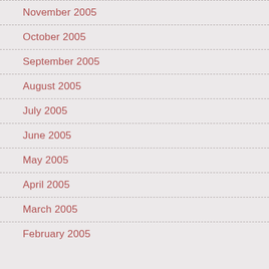November 2005
October 2005
September 2005
August 2005
July 2005
June 2005
May 2005
April 2005
March 2005
February 2005